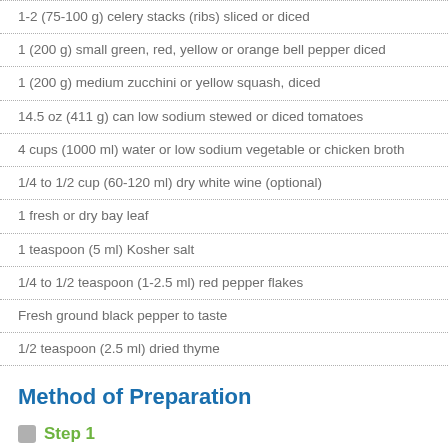1-2 (75-100 g) celery stacks (ribs) sliced or diced
1 (200 g) small green, red, yellow or orange bell pepper diced
1 (200 g) medium zucchini or yellow squash, diced
14.5 oz (411 g) can low sodium stewed or diced tomatoes
4 cups (1000 ml) water or low sodium vegetable or chicken broth
1/4 to 1/2 cup (60-120 ml) dry white wine (optional)
1 fresh or dry bay leaf
1 teaspoon (5 ml) Kosher salt
1/4 to 1/2 teaspoon (1-2.5 ml) red pepper flakes
Fresh ground black pepper to taste
1/2 teaspoon (2.5 ml) dried thyme
Method of Preparation
Step 1